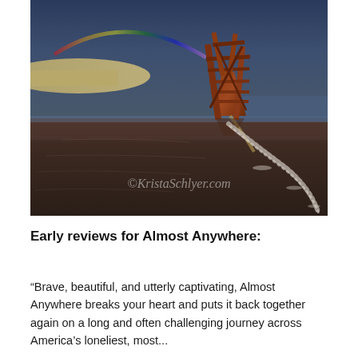[Figure (photo): A dramatic photograph of a rusty shipwreck on a dark wet beach with a rainbow in the stormy sky. The wreck's skeletal iron frame stands against the dramatic sky. A trail of sea foam runs from the wreck across the reflective wet sand toward the foreground. A watermark reads '©KristaSchlyer.com' in a translucent white font across the lower portion of the image.]
Early reviews for Almost Anywhere:
“Brave, beautiful, and utterly captivating, Almost Anywhere breaks your heart and puts it back together again on a long and often challenging journey across America’s loneliest, most...